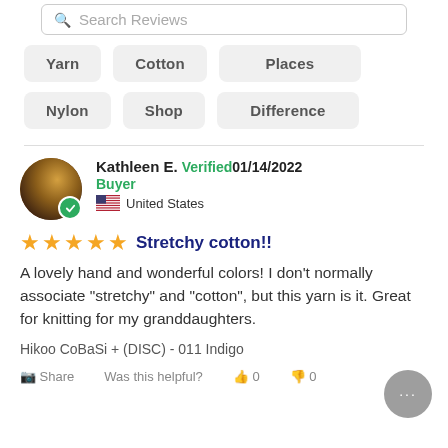Search Reviews
Yarn
Cotton
Places
Nylon
Shop
Difference
Kathleen E. Verified Buyer 01/14/2022 United States
★★★★★ Stretchy cotton!!
A lovely hand and wonderful colors! I don't normally associate "stretchy" and "cotton", but this yarn is it. Great for knitting for my granddaughters.
Hikoo CoBaSi + (DISC) - 011 Indigo